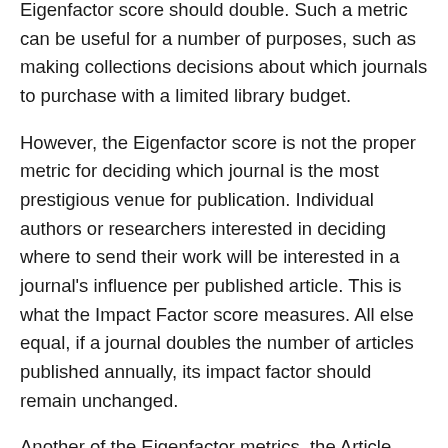Eigenfactor score should double. Such a metric can be useful for a number of purposes, such as making collections decisions about which journals to purchase with a limited library budget.
However, the Eigenfactor score is not the proper metric for deciding which journal is the most prestigious venue for publication. Individual authors or researchers interested in deciding where to send their work will be interested in a journal's influence per published article. This is what the Impact Factor score measures. All else equal, if a journal doubles the number of articles published annually, its impact factor should remain unchanged.
Another of the Eigenfactor metrics, the Article Influence score, measures per article influence